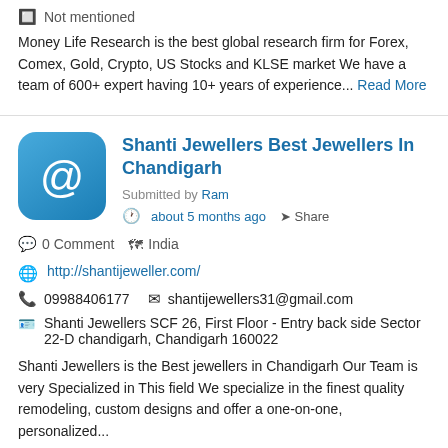Not mentioned
Money Life Research is the best global research firm for Forex, Comex, Gold, Crypto, US Stocks and KLSE market We have a team of 600+ expert having 10+ years of experience... Read More
Shanti Jewellers Best Jewellers In Chandigarh
Submitted by Ram
about 5 months ago  Share
0 Comment  India
http://shantijeweller.com/
09988406177  shantijewellers31@gmail.com
Shanti Jewellers SCF 26, First Floor - Entry back side Sector 22-D chandigarh, Chandigarh 160022
Shanti Jewellers is the Best jewellers in Chandigarh Our Team is very Specialized in This field We specialize in the finest quality remodeling, custom designs and offer a one-on-one, personalized...
Read More